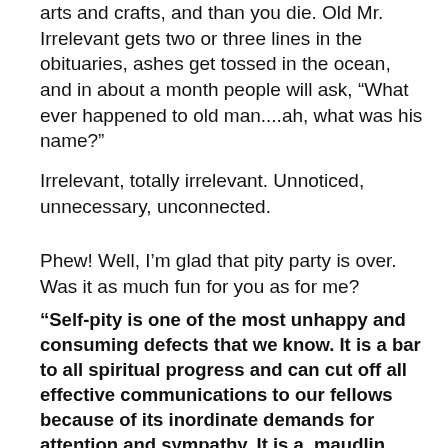arts and crafts, and than you die.  Old Mr. Irrelevant gets two or three lines in the obituaries, ashes get tossed in the ocean, and in about a month people will ask, “What ever happened to old man....ah, what was his name?”
Irrelevant, totally irrelevant.  Unnoticed, unnecessary, unconnected.
Phew!  Well, I’m glad that pity party is over.  Was it as much fun for you as for me?
“Self-pity is one of the most unhappy and consuming defects that we know.  It is a bar to all spiritual progress and can cut off all effective communications to our fellows because of its inordinate demands for attention and sympathy.  It is a  maudlin form of martyrdom, which we can ill afford.”  Bill W. AS BILL SEES IT